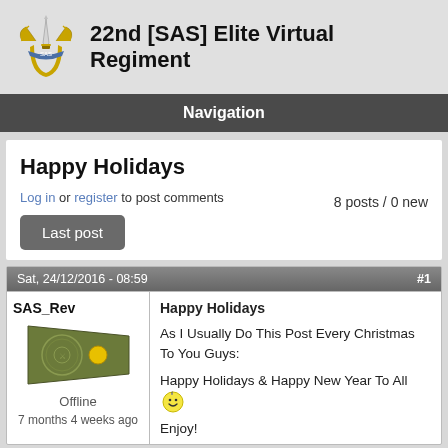[Figure (logo): SAS Regiment logo - yellow winged dagger on shield]
22nd [SAS] Elite Virtual Regiment
Navigation
Happy Holidays
Log in or register to post comments
8 posts / 0 new
Last post
Sat, 24/12/2016 - 08:59
#1
SAS_Rev
[Figure (illustration): Military rank badge - olive green pennant shape with circular emblem and yellow dot]
Offline
7 months 4 weeks ago
Happy Holidays
As I Usually Do This Post Every Christmas To You Guys:
Happy Holidays & Happy New Year To All 😊
Enjoy!